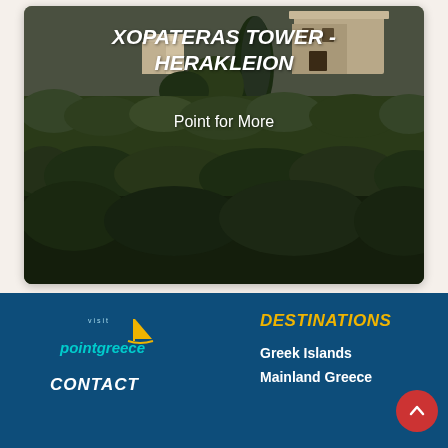[Figure (photo): Outdoor landscape photo of Xopateras Tower in Herakleion, Greece. Shows a stone tower building surrounded by dense Mediterranean shrubs, olive trees, and rocky terrain. Dark sky and vegetation in the foreground. White overlay text shows the title and 'Point for More'.]
XOPATERAS TOWER - HERAKLEION
Point for More
[Figure (logo): pointgreece logo with sailboat icon and cyan italic text]
CONTACT
DESTINATIONS
Greek Islands
Mainland Greece